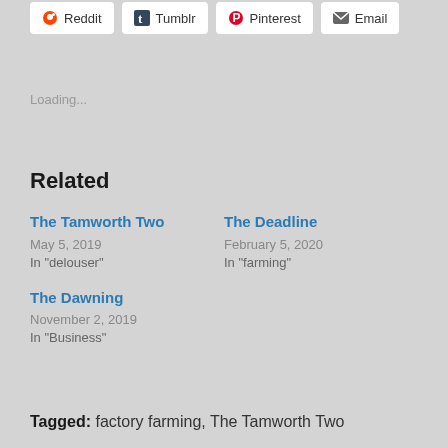[Figure (screenshot): Social share buttons row: Reddit, Tumblr, Pinterest, Email]
Loading...
Related
The Tamworth Two
May 5, 2019
In "delouser"
The Deadline
February 5, 2020
In "farming"
The Dawning
November 2, 2019
In "Business"
Tagged: factory farming, The Tamworth Two